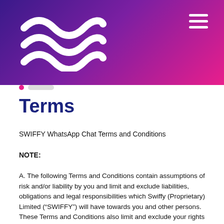[Figure (logo): Swiffy logo with three wavy lines in white on gradient purple-to-pink banner, with hamburger menu icon in top right]
Terms
SWIFFY WhatsApp Chat Terms and Conditions
NOTE:
A. The following Terms and Conditions contain assumptions of risk and/or liability by you and limit and exclude liabilities, obligations and legal responsibilities which Swiffy (Proprietary) Limited (“SWIFFY”) will have towards you and other persons. These Terms and Conditions also limit and exclude your rights and remedies against SWIFFY and place various risks, liabilities, obligations and legal responsibilities on you. These Terms and Conditions may result in you being responsible for paying additional costs and amounts and SWIFFY may